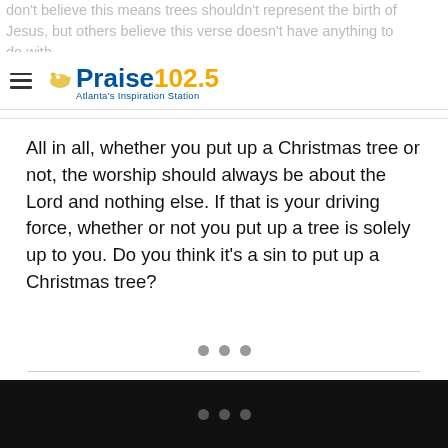don't believe this means trees shouldn't represent the birth of Jesus, but others believe this verse doesn't have anything to do with…
[Figure (logo): Praise 102.5 Atlanta's Inspiration Station logo with hamburger menu icon]
All in all, whether you put up a Christmas tree or not, the worship should always be about the Lord and nothing else. If that is your driving force, whether or not you put up a tree is solely up to you. Do you think it's a sin to put up a Christmas tree?